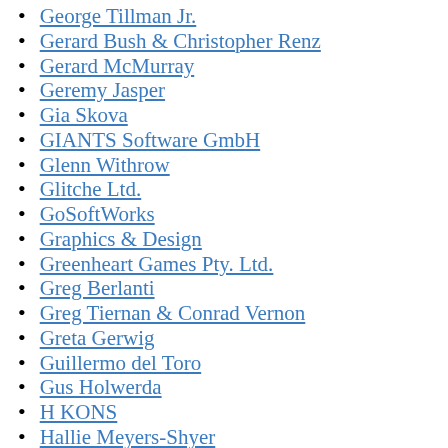George Tillman Jr.
Gerard Bush & Christopher Renz
Gerard McMurray
Geremy Jasper
Gia Skova
GIANTS Software GmbH
Glenn Withrow
Glitche Ltd.
GoSoftWorks
Graphics & Design
Greenheart Games Pty. Ltd.
Greg Berlanti
Greg Tiernan & Conrad Vernon
Greta Gerwig
Guillermo del Toro
Gus Holwerda
H KONS
Hallie Meyers-Shyer
Hamilton Luske, Clyde Geronimi & Wilfred